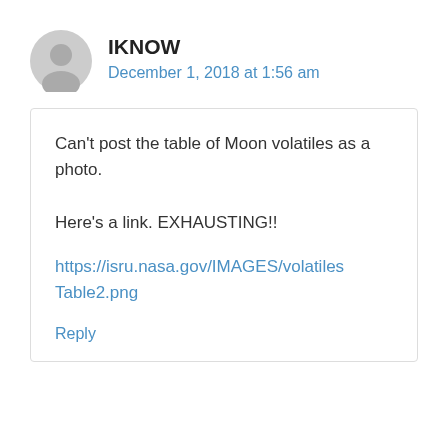[Figure (other): Gray circular avatar/profile icon placeholder]
IKNOW
December 1, 2018 at 1:56 am
Can't post the table of Moon volatiles as a photo.

Here's a link. EXHAUSTING!!
https://isru.nasa.gov/IMAGES/volatilesTable2.png
Reply